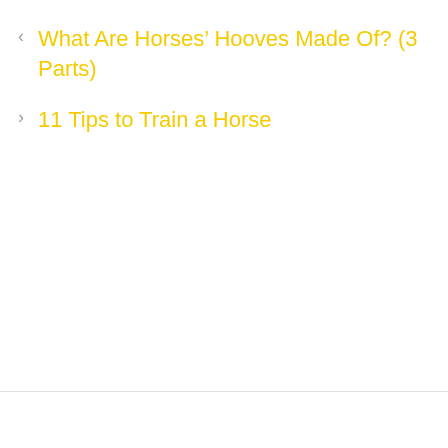< What Are Horses' Hooves Made Of? (3 Parts)
> 11 Tips to Train a Horse